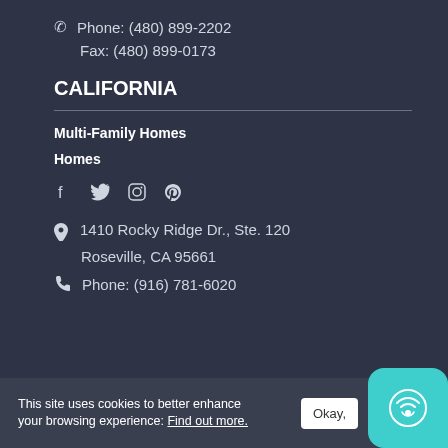Phone: (480) 899-2202
Fax: (480) 899-0173
CALIFORNIA
Multi-Family Homes
Homes
[Figure (other): Social media icons: Facebook, Twitter, Instagram, Pinterest]
1410 Rocky Ridge Dr., Ste. 120 Roseville, CA 95661
Phone: (916) 781-6020
This site uses cookies to better enhance your browsing experience: Find out more.